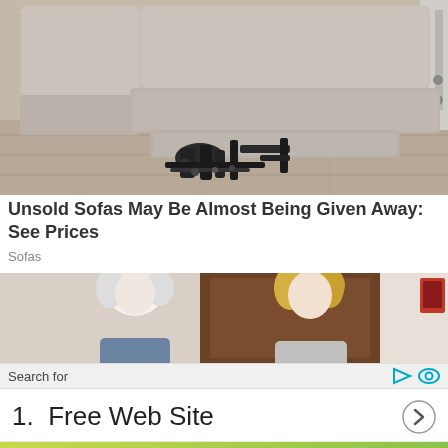[Figure (photo): Gray leather recliner sofa with footrest extended, showing mechanical reclining mechanism underneath, on a hardwood floor]
Unsold Sofas May Be Almost Being Given Away: See Prices
Sofas
[Figure (photo): Two women, one elderly with white hair and one younger with blonde hair, standing in a doorway]
Search for
1.  Free Web Site